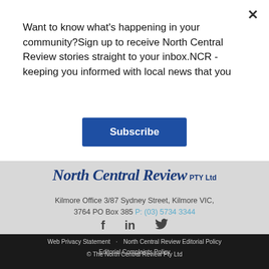Want to know what's happening in your community?Sign up to receive North Central Review stories straight to your inbox.NCR - keeping you informed with local news that you
Subscribe
[Figure (logo): North Central Review Pty Ltd logo in dark blue italic serif font]
Kilmore Office 3/87 Sydney Street, Kilmore VIC, 3764 PO Box 385 P: (03) 5734 3344
[Figure (infographic): Social media icons: Facebook (f), LinkedIn (in), Twitter bird icon]
Web Privacy Statement · North Central Review Editorial Policy · Editorial Complaints Policy
© The North Central Review Pty Ltd